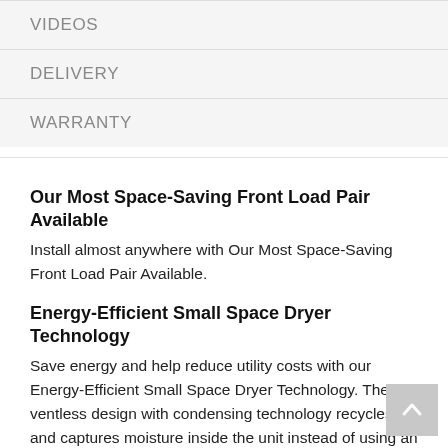VIDEOS
DELIVERY
WARRANTY
Our Most Space-Saving Front Load Pair Available
Install almost anywhere with Our Most Space-Saving Front Load Pair Available.
Energy-Efficient Small Space Dryer Technology
Save energy and help reduce utility costs with our Energy-Efficient Small Space Dryer Technology. The ventless design with condensing technology recycles air and captures moisture inside the unit instead of using an outside exhaust vent, so you can dry clothes more efficiently.
Whites Cycle
Dry a small load of cotton items in under an hour with